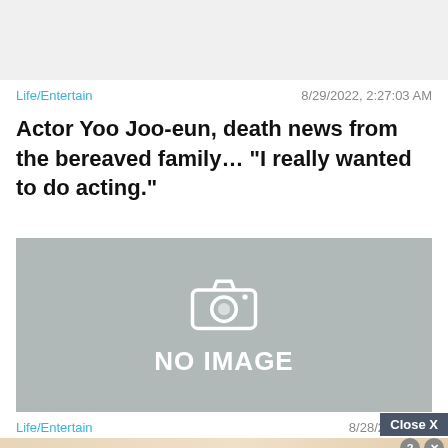[Figure (other): Gray placeholder image at top of article listing]
Life/Entertain   8/29/2022, 2:27:03 AM
Actor Yoo Joo-eun, death news from the bereaved family… “I really wanted to do acting.”
[Figure (other): No image placeholder with camera icon and NO IMAGE text]
Life/Entertain   8/28/2022, 9:2...
[Figure (other): Advertisement banner showing Hold and Move game with blue figures, Close X button overlay]